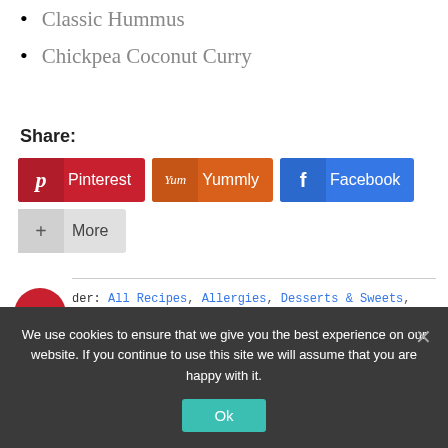Classic Hummus
Chickpea Coconut Curry
Share:
[Figure (infographic): Social share buttons: Pinterest (red), Yummly (orange), Facebook (blue), More (grey)]
Filed under: All Recipes, Allergies, Desserts & Sweets, Gluten-Free, -Free Option, Holiday, Nut Free, Nut Free Option, Uncategorized,
We use cookies to ensure that we give you the best experience on our website. If you continue to use this site we will assume that you are happy with it.